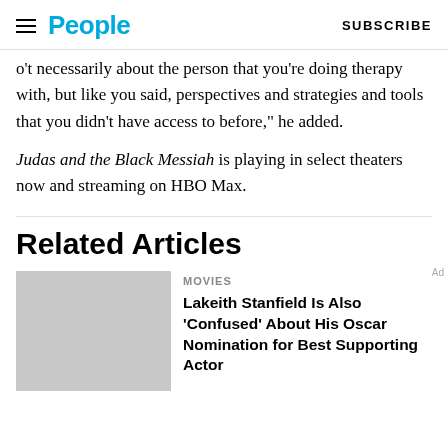People | SUBSCRIBE
o\u2019t necessarily about the person that you’re doing therapy with, but like you said, perspectives and strategies and tools that you didn’t have access to before,” he added.
Judas and the Black Messiah is playing in select theaters now and streaming on HBO Max.
Related Articles
[Figure (photo): Gray placeholder thumbnail for article about Lakeith Stanfield]
MOVIES
Lakeith Stanfield Is Also ‘Confused’ About His Oscar Nomination for Best Supporting Actor